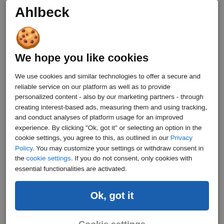Ahlbeck
[Figure (illustration): Cookie emoji (🍪)]
We hope you like cookies
We use cookies and similar technologies to offer a secure and reliable service on our platform as well as to provide personalized content - also by our marketing partners - through creating interest-based ads, measuring them and using tracking, and conduct analyses of platform usage for an improved experience. By clicking "Ok, got it" or selecting an option in the cookie settings, you agree to this, as outlined in our Privacy Policy. You may customize your settings or withdraw consent in the cookie settings. If you do not consent, only cookies with essential functionalities are activated.
Ok, got it
Cookie settings